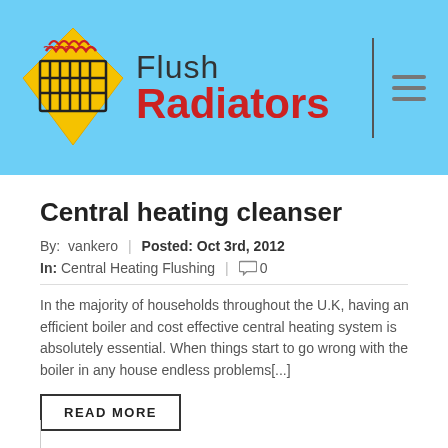[Figure (logo): Flush Radiators logo with yellow diamond shape containing a radiator icon and red heat waves, brand name 'Flush Radiators' in dark and red text on a light blue background header with hamburger menu icon]
Central heating cleanser
By:  vankero  |  Posted: Oct 3rd, 2012
In: Central Heating Flushing  |  💬 0
In the majority of households throughout the U.K, having an efficient boiler and cost effective central heating system is absolutely essential. When things start to go wrong with the boiler in any house endless problems[...]
READ MORE